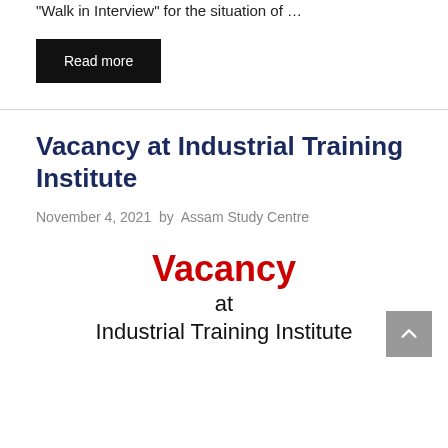“Walk in Interview” for the situation of …
Read more
Vacancy at Industrial Training Institute
November 4, 2021 by Assam Study Centre
[Figure (other): Vacancy at Industrial Training Institute text graphic with 'Vacancy' in red bold, 'at' and 'Industrial Training Institute' in black below]